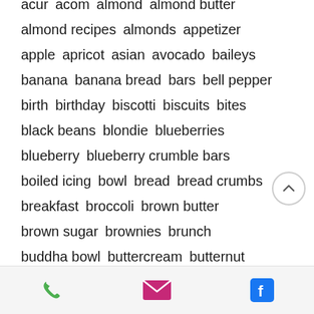acur  acom  almond  almond butter
almond recipes  almonds  appetizer
apple  apricot  asian  avocado  baileys
banana  banana bread  bars  bell pepper
birth  birthday  biscotti  biscuits  bites
black beans  blondie  blueberries
blueberry  blueberry crumble bars
boiled icing  bowl  bread  bread crumbs
breakfast  broccoli  brown butter
brown sugar  brownies  brunch
buddha bowl  buttercream  butternut
butternut squash  cake  caramel  carro
carrot cake  carrot recipes
phone | email | facebook